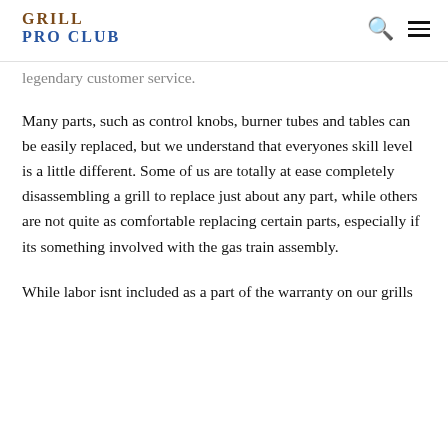GRILL PRO CLUB
legendary customer service.
Many parts, such as control knobs, burner tubes and tables can be easily replaced, but we understand that everyones skill level is a little different. Some of us are totally at ease completely disassembling a grill to replace just about any part, while others are not quite as comfortable replacing certain parts, especially if its something involved with the gas train assembly.
While labor isnt included as a part of the warranty on our grills